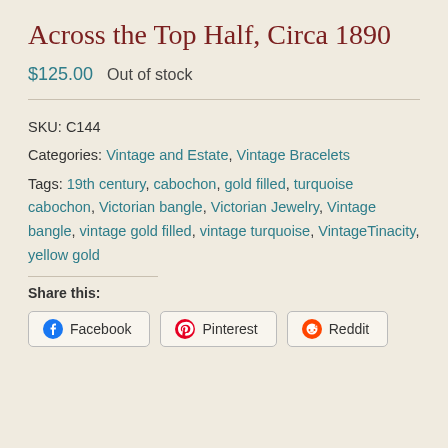Across the Top Half, Circa 1890
$125.00  Out of stock
SKU: C144
Categories: Vintage and Estate, Vintage Bracelets
Tags: 19th century, cabochon, gold filled, turquoise cabochon, Victorian bangle, Victorian Jewelry, Vintage bangle, vintage gold filled, vintage turquoise, VintageTinacity, yellow gold
Share this:
Facebook
Pinterest
Reddit